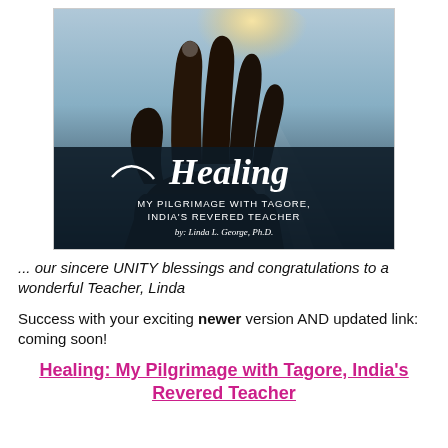[Figure (illustration): Book cover for 'Healing: My Pilgrimage with Tagore, India's Revered Teacher' by Linda L. George, Ph.D. Shows a hand raised against a bright sky with light rays, with cursive 'Healing' text and subtitle in white on dark background.]
... our sincere UNITY blessings and congratulations to a wonderful Teacher, Linda
Success with your exciting newer version AND updated link: coming soon!
Healing: My Pilgrimage with Tagore, India's Revered Teacher